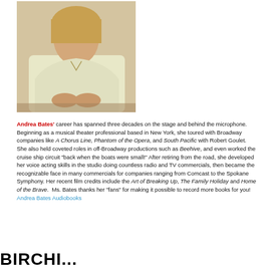[Figure (photo): Photo of Andrea Bates, a woman with blonde hair wearing a light yellow/cream top, hands folded, seated]
Andrea Bates' career has spanned three decades on the stage and behind the microphone. Beginning as a musical theater professional based in New York, she toured with Broadway companies like A Chorus Line, Phantom of the Opera, and South Pacific with Robert Goulet.  She also held coveted roles in off-Broadway productions such as Beehive, and even worked the cruise ship circuit "back when the boats were small!" After retiring from the road, she developed her voice acting skills in the studio doing countless radio and TV commercials, then became the recognizable face in many commercials for companies ranging from Comcast to the Spokane Symphony. Her recent film credits include the Art of Breaking Up, The Family Holiday and Home of the Brave.  Ms. Bates thanks her "fans" for making it possible to record more books for you! Andrea Bates Audiobooks
BIRCHI...